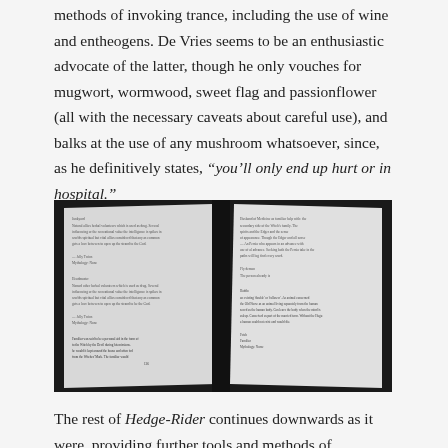methods of invoking trance, including the use of wine and entheogens. De Vries seems to be an enthusiastic advocate of the latter, though he only vouches for mugwort, wormwood, sweet flag and passionflower (all with the necessary caveats about careful use), and balks at the use of any mushroom whatsoever, since, as he definitively states, “you’ll only end up hurt or in hospital.”
[Figure (photo): Black and white photograph of an open book showing two pages with text entries, resembling a dictionary or glossary format.]
The rest of Hedge-Rider continues downwards as it were, providing further tools and methods of travelling to the underworld, drawing on the idea of the fetch and fylgja, as well as ideas of